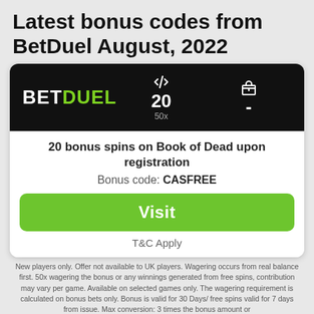Latest bonus codes from BetDuel August, 2022
[Figure (other): BetDuel casino bonus card showing 20 free spins with 50x wagering, bonus code CASFREE, and a Visit button]
20 bonus spins on Book of Dead upon registration
Bonus code: CASFREE
Visit
T&C Apply
New players only. Offer not available to UK players. Wagering occurs from real balance first. 50x wagering the bonus or any winnings generated from free spins, contribution may vary per game. Available on selected games only. The wagering requirement is calculated on bonus bets only. Bonus is valid for 30 Days/ free spins valid for 7 days from issue. Max conversion: 3 times the bonus amount or